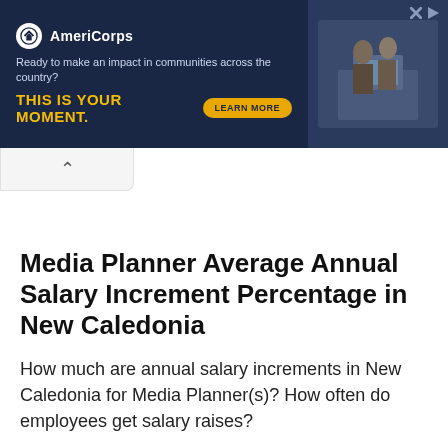[Figure (screenshot): AmeriCorps advertisement banner with dark navy background. Logo with white circle, text 'AmeriCorps', tagline 'Ready to make an impact in communities across the country?', yellow bold text 'THIS IS YOUR MOMENT.', orange 'LEARN MORE' button, and a photo of people looking at a computer screen on the right.]
Media Planner Average Annual Salary Increment Percentage in New Caledonia
How much are annual salary increments in New Caledonia for Media Planner(s)? How often do employees get salary raises?
Media Pl...